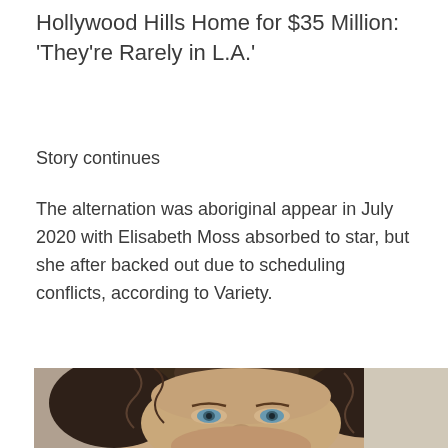Hollywood Hills Home for $35 Million: 'They're Rarely in L.A.'
Story continues
The alternation was aboriginal appear in July 2020 with Elisabeth Moss absorbed to star, but she after backed out due to scheduling conflicts, according to Variety.
[Figure (photo): Close-up portrait photo of a young woman with curly dark brown hair and blue eyes, looking upward, against a neutral background.]